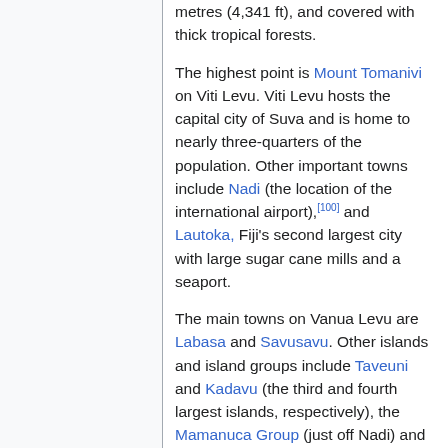metres (4,341 ft), and covered with thick tropical forests.
The highest point is Mount Tomanivi on Viti Levu. Viti Levu hosts the capital city of Suva and is home to nearly three-quarters of the population. Other important towns include Nadi (the location of the international airport),[100] and Lautoka, Fiji's second largest city with large sugar cane mills and a seaport.
The main towns on Vanua Levu are Labasa and Savusavu. Other islands and island groups include Taveuni and Kadavu (the third and fourth largest islands, respectively), the Mamanuca Group (just off Nadi) and Yasawa Group, which are popular tourist destinations, the Lomaiviti Group, off Suva, and the...